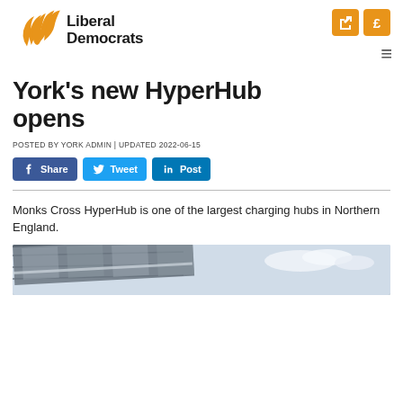[Figure (logo): Liberal Democrats logo with golden bird/flame motif and bold text]
POSTED BY YORK ADMIN | UPDATED 2022-06-15
York’s new HyperHub opens
[Figure (infographic): Social share buttons: Share (Facebook), Tweet (Twitter), Post (LinkedIn)]
Monks Cross HyperHub is one of the largest charging hubs in Northern England.
[Figure (photo): Partial photo of HyperHub charging station canopy structure with sky background]